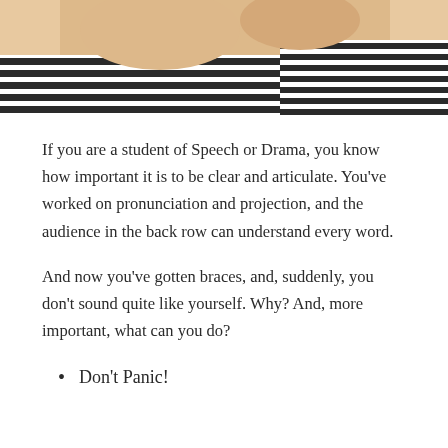[Figure (photo): Photo of a person in a striped shirt, partially visible, cropped at the top of the page]
If you are a student of Speech or Drama, you know how important it is to be clear and articulate. You've worked on pronunciation and projection, and the audience in the back row can understand every word.
And now you've gotten braces, and, suddenly, you don't sound quite like yourself. Why? And, more important, what can you do?
Don't Panic!